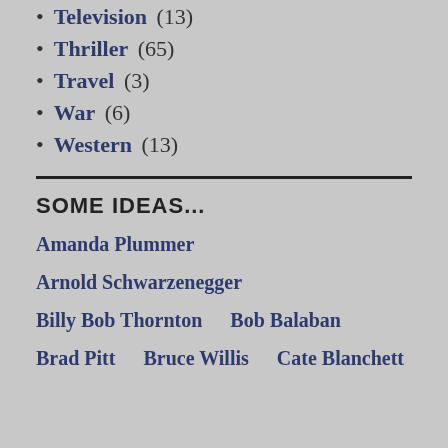Television (13)
Thriller (65)
Travel (3)
War (6)
Western (13)
SOME IDEAS...
Amanda Plummer
Arnold Schwarzenegger
Billy Bob Thornton    Bob Balaban
Brad Pitt    Bruce Willis    Cate Blanchett